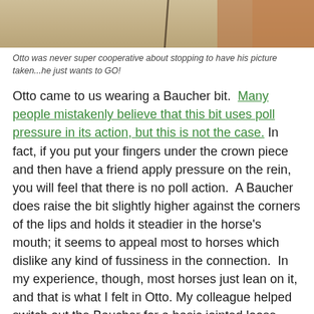[Figure (photo): Partial photo of a horse, cropped at top of page, showing sandy/dirt background and chestnut horse body]
Otto was never super cooperative about stopping to have his picture taken...he just wants to GO!
Otto came to us wearing a Baucher bit. Many people mistakenly believe that this bit uses poll pressure in its action, but this is not the case. In fact, if you put your fingers under the crown piece and then have a friend apply pressure on the rein, you will feel that there is no poll action. A Baucher does raise the bit slightly higher against the corners of the lips and holds it steadier in the horse's mouth; it seems to appeal most to horses which dislike any kind of fussiness in the connection. In my experience, though, most horses just lean on it, and that is what I felt in Otto. My colleague helped switch out the Baucher for a basic jointed loose ring, which gives him more to chew on and definitely helped to improve the softness of his jaw.